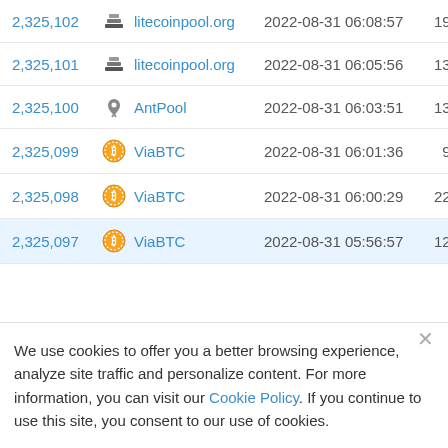| Block |  | Pool | Timestamp | Txs |  |
| --- | --- | --- | --- | --- | --- |
| 2,325,102 | [stacked-icon] | litecoinpool.org | 2022-08-31 06:08:57 | 197 | 12… |
| 2,325,101 | [stacked-icon] | litecoinpool.org | 2022-08-31 06:05:56 | 131 | 12… |
| 2,325,100 | [antpool-icon] | AntPool | 2022-08-31 06:03:51 | 130 | 12… |
| 2,325,099 | [viabtc-icon] | ViaBTC | 2022-08-31 06:01:36 | 91 | 12… |
| 2,325,098 | [viabtc-icon] | ViaBTC | 2022-08-31 06:00:29 | 226 | 12… |
| 2,325,097 | [viabtc-icon] | ViaBTC | 2022-08-31 05:56:57 | 120 | 12… |
We use cookies to offer you a better browsing experience, analyze site traffic and personalize content. For more information, you can visit our Cookie Policy. If you continue to use this site, you consent to our use of cookies.